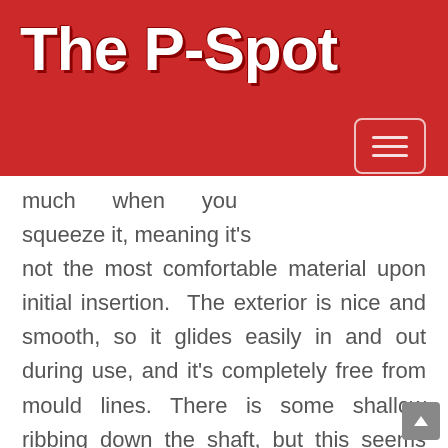The P-Spot
much when you squeeze it, meaning it's not the most comfortable material upon initial insertion. The exterior is nice and smooth, so it glides easily in and out during use, and it's completely free from mould lines. There is some shallow ribbing down the shaft, but this seems mostly cosmetic as you don't feel it at all inside you; there's no noticeable sensation of a bump going down. Unfortunately the Silagel does have something of a plasticy odor about it, I wouldn't describe it as overly unpleasant – and I've